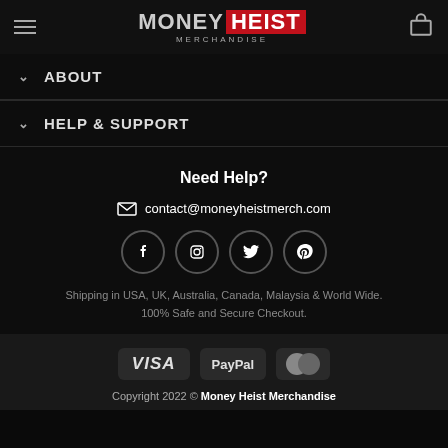MONEY HEIST MERCHANDISE
ABOUT
HELP & SUPPORT
Need Help?
contact@moneyheistmerch.com
[Figure (other): Social media icons: Facebook, Instagram, Twitter, Pinterest]
Shipping in USA, UK, Australia, Canada, Malaysia & World Wide. 100% Safe and Secure Checkout.
[Figure (other): Payment badges: VISA, PayPal, MasterCard]
Copyright 2022 © Money Heist Merchandise